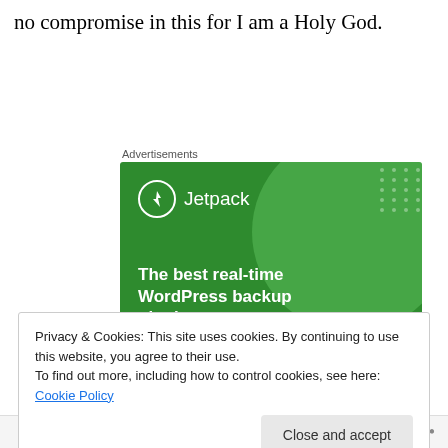no compromise in this for I am a Holy God.
Advertisements
[Figure (illustration): Jetpack advertisement banner with green background, Jetpack logo (lightning bolt icon in circle), and tagline 'The best real-time WordPress backup plugin']
Privacy & Cookies: This site uses cookies. By continuing to use this website, you agree to their use.
To find out more, including how to control cookies, see here: Cookie Policy
Follow  •••